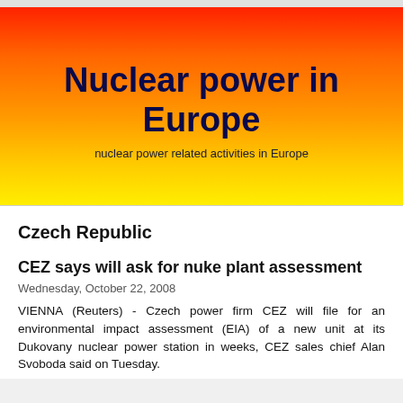[Figure (other): Header banner with red-to-yellow gradient background containing the title 'Nuclear power in Europe' and subtitle 'nuclear power related activities in Europe']
Nuclear power in Europe
nuclear power related activities in Europe
Czech Republic
CEZ says will ask for nuke plant assessment
Wednesday, October 22, 2008
VIENNA (Reuters) - Czech power firm CEZ will file for an environmental impact assessment (EIA) of a new unit at its Dukovany nuclear power station in weeks, CEZ sales chief Alan Svoboda said on Tuesday.